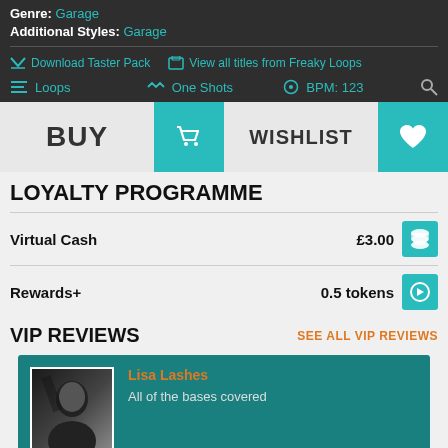Genre: Garage
Additional Styles: Garage
Download Taster Pack   View all titles from Freaky Loops
Loops   One Shots   BPM: 123
BUY   WISHLIST
LOYALTY PROGRAMME
Virtual Cash  £3.00
Rewards+  0.5 tokens
VIP REVIEWS
SEE ALL VIP REVIEWS
Lisa Lashes
All of the bases covered
8/10 ★   MORE